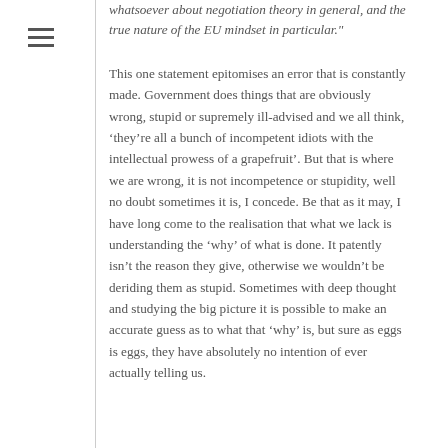whatsoever about negotiation theory in general, and the true nature of the EU mindset in particular."
This one statement epitomises an error that is constantly made. Government does things that are obviously wrong, stupid or supremely ill-advised and we all think, ‘they’re all a bunch of incompetent idiots with the intellectual prowess of a grapefruit’. But that is where we are wrong, it is not incompetence or stupidity, well no doubt sometimes it is, I concede. Be that as it may, I have long come to the realisation that what we lack is understanding the ‘why’ of what is done. It patently isn’t the reason they give, otherwise we wouldn’t be deriding them as stupid. Sometimes with deep thought and studying the big picture it is possible to make an accurate guess as to what that ‘why’ is, but sure as eggs is eggs, they have absolutely no intention of ever actually telling us.